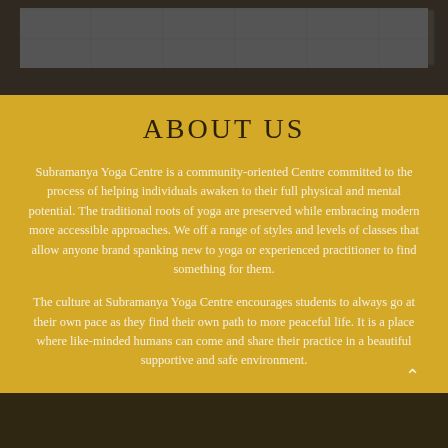[Figure (photo): Dark interior photo of a ceiling with ventilation grilles and tiles, dimly lit]
ABOUT US
Subramanya Yoga Centre is a community-oriented Centre committed to the process of helping individuals awaken to their full physical and mental potential. The traditional roots of yoga are preserved while embracing modern more accessible approaches. We off a range of styles and levels of classes that allow anyone brand spanking new to yoga or experienced practitioner to find something for them.
The culture at Subramanya Yoga Centre encourages students to always go at their own pace as they find their own path to more peaceful life. It is a place where like-minded humans can come and share their practice in a beautiful supportive and safe environment.
[Figure (photo): Dark interior floor-level photo, bottom strip]